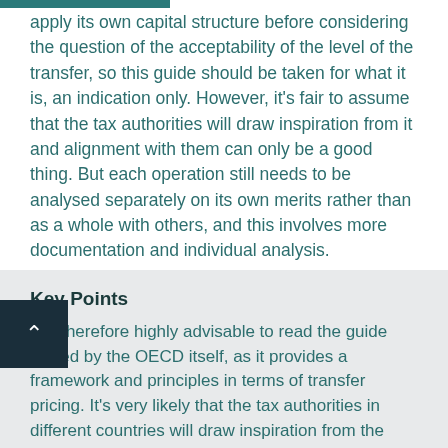apply its own capital structure before considering the question of the acceptability of the level of the transfer, so this guide should be taken for what it is, an indication only. However, it's fair to assume that the tax authorities will draw inspiration from it and alignment with them can only be a good thing. But each operation still needs to be analysed separately on its own merits rather than as a whole with others, and this involves more documentation and individual analysis.
Key Points
It is therefore highly advisable to read the guide issued by the OECD itself, as it provides a framework and principles in terms of transfer pricing. It's very likely that the tax authorities in different countries will draw inspiration from the